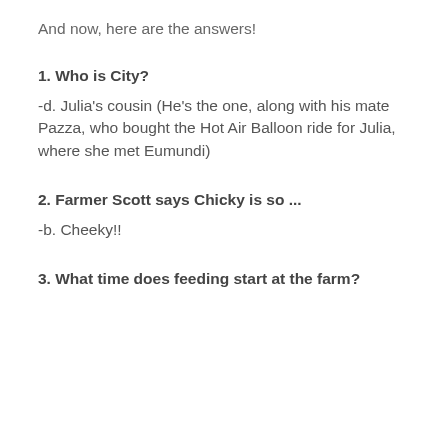And now, here are the answers!
1. Who is City?
-d. Julia's cousin (He's the one, along with his mate Pazza, who bought the Hot Air Balloon ride for Julia, where she met Eumundi)
2. Farmer Scott says Chicky is so ...
-b. Cheeky!!
3. What time does feeding start at the farm?